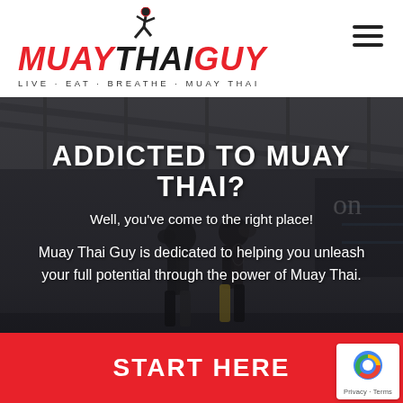[Figure (logo): Muay Thai Guy logo with fighter silhouette above stylized text MUAY THAI GUY in red and black italic, tagline LIVE·EAT·BREATHE·MUAY THAI below]
[Figure (photo): Background photo of Muay Thai fighters sparring in a gym ring, dark/moody atmosphere]
ADDICTED TO MUAY THAI?
Well, you've come to the right place!
Muay Thai Guy is dedicated to helping you unleash your full potential through the power of Muay Thai.
START HERE